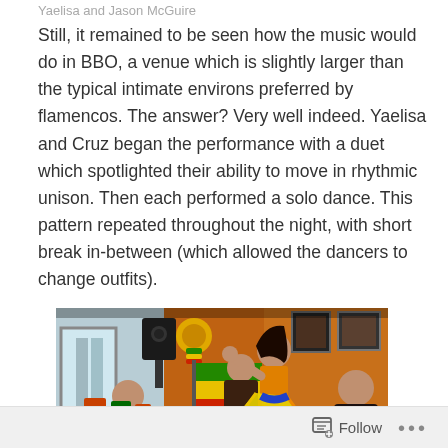Yaelisa and Jason McGuire
Still, it remained to be seen how the music would do in BBO, a venue which is slightly larger than the typical intimate environs preferred by flamencos. The answer? Very well indeed. Yaelisa and Cruz began the performance with a duet which spotlighted their ability to move in rhythmic unison. Then each performed a solo dance. This pattern repeated throughout the night, with short break in-between (which allowed the dancers to change outfits).
[Figure (photo): Indoor restaurant/venue scene with a flamenco dancer performing. A dancer with long hair and colorful skirt is in motion center-frame. Behind are speakers on stands, a Bolivian or African flag, and decorations. Other people are seated around the room. The walls are orange-brown. Drums and other instruments are visible on a table.]
Follow ...